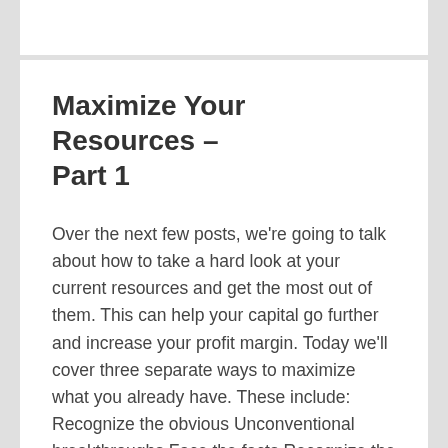Maximize Your Resources – Part 1
Over the next few posts, we're going to talk about how to take a hard look at your current resources and get the most out of them. This can help your capital go further and increase your profit margin. Today we'll cover three separate ways to maximize what you already have. These include: Recognize the obvious Unconventional breakthroughs Face the facts Recognize the Obvious Sometimes when you are too close to something, you can't make out the big picture. You need to step back and really take a hard look at the resources you currently have in front of you.